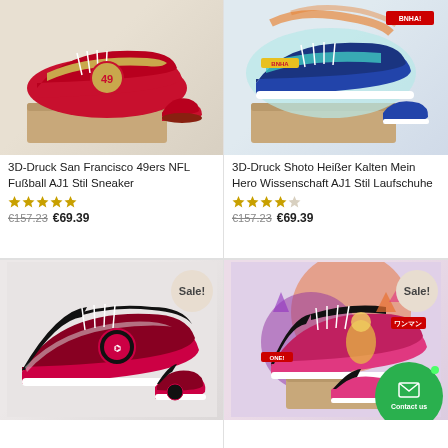[Figure (photo): 3D printed San Francisco 49ers NFL themed high-top AJ1 style sneakers in red and gold, shown with shoe box]
[Figure (photo): 3D printed Shoto Hot Cold My Hero Academia themed AJ1 style high-top sneakers in blue, white, teal, shown with shoe box]
3D-Druck San Francisco 49ers NFL Fußball AJ1 Stil Sneaker
3D-Druck Shoto Heißer Kalten Mein Hero Wissenschaft AJ1 Stil Laufschuhe
★★★★★ €157.23 €69.39
★★★★☆ €157.23 €69.39
[Figure (photo): Black and red Toronto Raptors themed high-top AJ1 sneakers, Sale badge visible]
[Figure (photo): Purple/pink/orange anime themed high-top AJ1 sneakers with shoe box, Sale badge visible, Contact us button overlay]